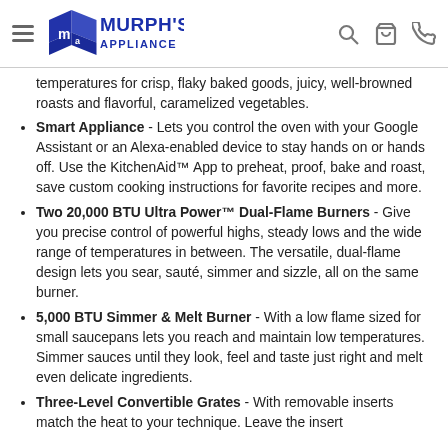Murph's Appliance
temperatures for crisp, flaky baked goods, juicy, well-browned roasts and flavorful, caramelized vegetables.
Smart Appliance - Lets you control the oven with your Google Assistant or an Alexa-enabled device to stay hands on or hands off. Use the KitchenAid™ App to preheat, proof, bake and roast, save custom cooking instructions for favorite recipes and more.
Two 20,000 BTU Ultra Power™ Dual-Flame Burners - Give you precise control of powerful highs, steady lows and the wide range of temperatures in between. The versatile, dual-flame design lets you sear, sauté, simmer and sizzle, all on the same burner.
5,000 BTU Simmer & Melt Burner - With a low flame sized for small saucepans lets you reach and maintain low temperatures. Simmer sauces until they look, feel and taste just right and melt even delicate ingredients.
Three-Level Convertible Grates - With removable inserts match the heat to your technique. Leave the insert